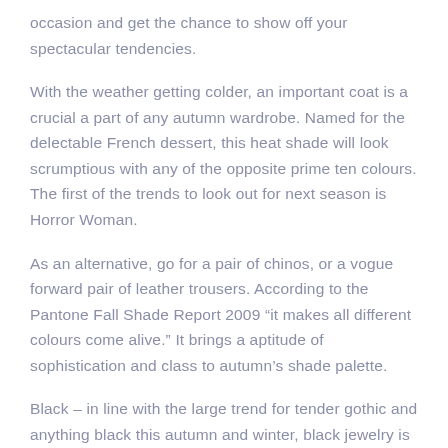occasion and get the chance to show off your spectacular tendencies.
With the weather getting colder, an important coat is a crucial a part of any autumn wardrobe. Named for the delectable French dessert, this heat shade will look scrumptious with any of the opposite prime ten colours. The first of the trends to look out for next season is Horror Woman.
As an alternative, go for a pair of chinos, or a vogue forward pair of leather trousers. According to the Pantone Fall Shade Report 2009 “it makes all different colours come alive.” It brings a aptitude of sophistication and class to autumn’s shade palette.
Black – in line with the large trend for tender gothic and anything black this autumn and winter, black jewelry is all over. As with previous autumn and winter trend colors,